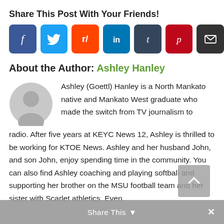Share This Post With Your Friends!
[Figure (infographic): Row of seven social media sharing icon buttons: Facebook (blue), Twitter (light blue), Reddit (orange), LinkedIn (dark blue), Tumblr (dark navy), Pinterest (dark red), Email (black)]
About the Author: Ashley Hanley
[Figure (photo): Generic grey avatar/profile placeholder icon (circle with person silhouette)]
Ashley (Goettl) Hanley is a North Mankato native and Mankato West graduate who made the switch from TV journalism to radio. After five years at KEYC News 12, Ashley is thrilled to be working for KTOE News. Ashley and her husband John, and son John, enjoy spending time in the community. You can also find Ashley coaching and playing softball and supporting her brother on the MSU football team and her sister with Scarlet athletics. Even
Share This